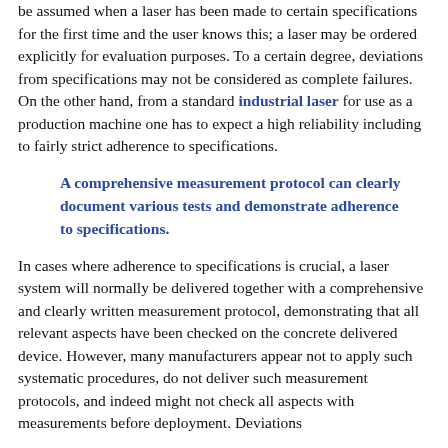be assumed when a laser has been made to certain specifications for the first time and the user knows this; a laser may be ordered explicitly for evaluation purposes. To a certain degree, deviations from specifications may not be considered as complete failures. On the other hand, from a standard industrial laser for use as a production machine one has to expect a high reliability including to fairly strict adherence to specifications.
A comprehensive measurement protocol can clearly document various tests and demonstrate adherence to specifications.
In cases where adherence to specifications is crucial, a laser system will normally be delivered together with a comprehensive and clearly written measurement protocol, demonstrating that all relevant aspects have been checked on the concrete delivered device. However, many manufacturers appear not to apply such systematic procedures, do not deliver such measurement protocols, and indeed might not check all aspects with measurements before deployment. Deviations